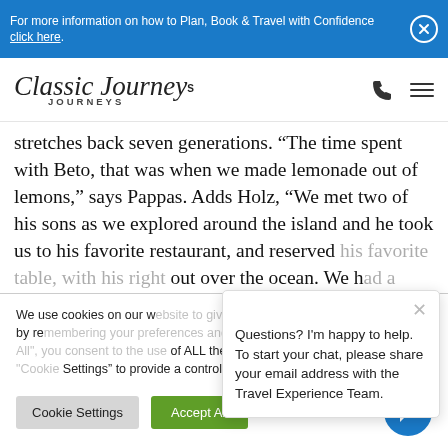For more information on how to Plan, Book & Travel with Confidence click here.
[Figure (logo): Classic Journeys logo in italic serif script]
stretches back seven generations. “The time spent with Beto, that was when we made lemonade out of lemons,” says Pappas. Adds Holz, “We met two of his sons as we explored around the island and he took us to his favorite restaurant, and reserved his favorite table, with a view out over the ocean. We h...
Questions? I'm happy to help. To start your chat, please share your email address with the Travel Experience Team.
We use cookies on our website to give you the most relevant experience by remembering your preferences and repeat visits. By clicking "Accept All", you consent to the use of ALL the cookies. However, you may visit "Cookie Settings" to provide a controlled consent.